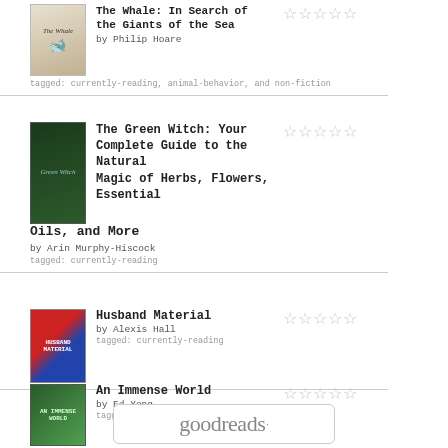The Whale: In Search of the Giants of the Sea by Philip Hoare — tagged: currently-reading, animal-behavior, and non-fiction
The Green Witch: Your Complete Guide to the Natural Magic of Herbs, Flowers, Essential Oils, and More by Arin Murphy-Hiscock — tagged currently-reading
Husband Material by Alexis Hall — tagged currently-reading
An Immense World by Ed Yong — tagged currently-reading
[Figure (logo): Goodreads logo in a rounded rectangle border]